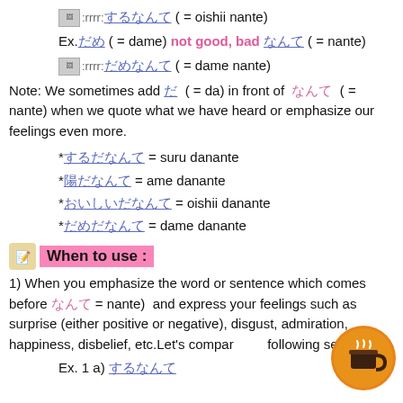[:rrrr: [jp] ( = oishii nante)
Ex.[jp] ( = dame) not good, bad [jp] ( = nante)
[:rrrr: [jp] ( = dame nante)
Note: We sometimes add [da] ( = da) in front of [nante] ( = nante) when we quote what we have heard or emphasize our feelings even more.
*[jp] = suru danante
*[jp] = ame danante
*[jp] = oishii danante
*[jp] = dame danante
When to use :
1) When you emphasize the word or sentence which comes before [nante] = nante) and express your feelings such as surprise (either positive or negative), disgust, admiration, happiness, disbelief, etc.Let's compare the following sentences.
Ex. 1 a) [jp]